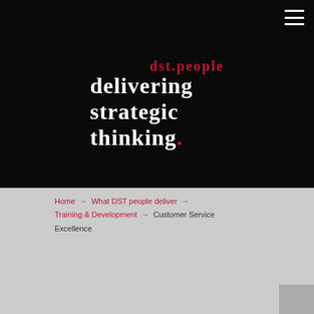[Figure (logo): DST People logo: 'dst.people' in red serif text above 'delivering strategic thinking.' in white bold serif text on black background]
Home → What DST people deliver → Training & Development → Customer Service Excellence